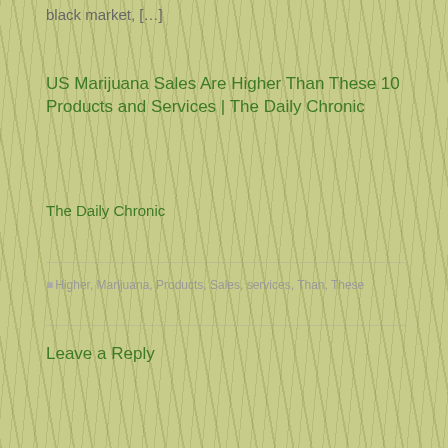black market, […]
US Marijuana Sales Are Higher Than These 10 Products and Services | The Daily Chronic
The Daily Chronic
Higher, Marijuana, Products, Sales, services, Than, These
Leave a Reply
Search
Categories
Baby Hemp Clothing
Baby Hemp Shoes
Cannabis